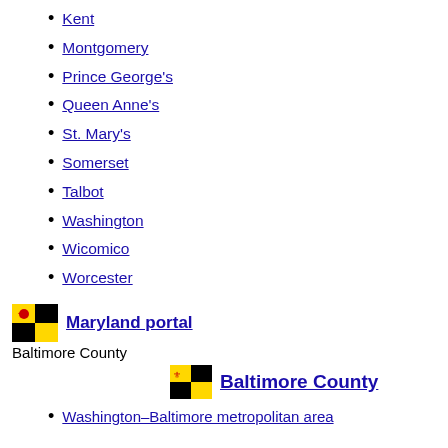Kent
Montgomery
Prince George's
Queen Anne's
St. Mary's
Somerset
Talbot
Washington
Wicomico
Worcester
Maryland portal
Baltimore County
Baltimore County
Washington–Baltimore metropolitan area
Circuit Courthouse
Education
Fire
Police
Sheriff
State's Attorney
County Executive: John A.